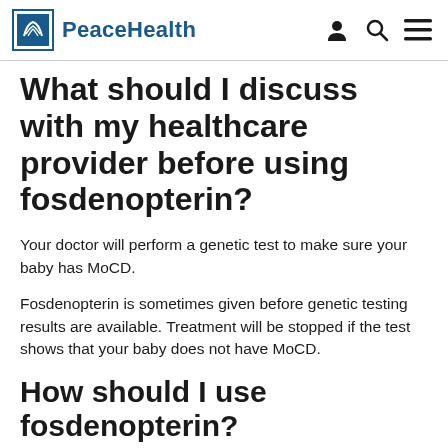PeaceHealth
What should I discuss with my healthcare provider before using fosdenopterin?
Your doctor will perform a genetic test to make sure your baby has MoCD.
Fosdenopterin is sometimes given before genetic testing results are available. Treatment will be stopped if the test shows that your baby does not have MoCD.
How should I use fosdenopterin?
Follow all directions on your prescription label and read all